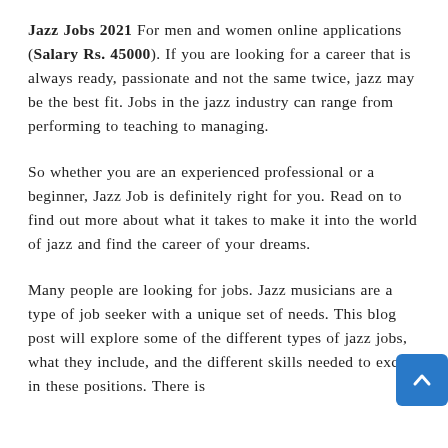Jazz Jobs 2021 For men and women online applications (Salary Rs. 45000). If you are looking for a career that is always ready, passionate and not the same twice, jazz may be the best fit. Jobs in the jazz industry can range from performing to teaching to managing.
So whether you are an experienced professional or a beginner, Jazz Job is definitely right for you. Read on to find out more about what it takes to make it into the world of jazz and find the career of your dreams.
Many people are looking for jobs. Jazz musicians are a type of job seeker with a unique set of needs. This blog post will explore some of the different types of jazz jobs, what they include, and the different skills needed to excel in these positions. There is